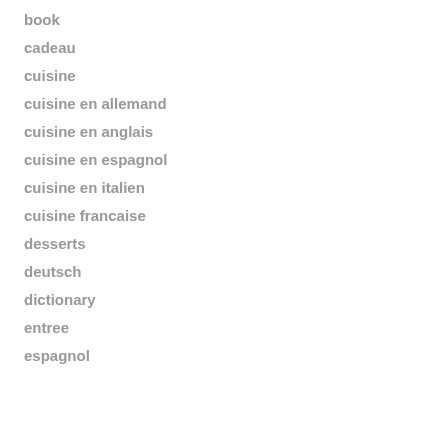book
cadeau
cuisine
cuisine en allemand
cuisine en anglais
cuisine en espagnol
cuisine en italien
cuisine francaise
desserts
deutsch
dictionary
entree
espagnol